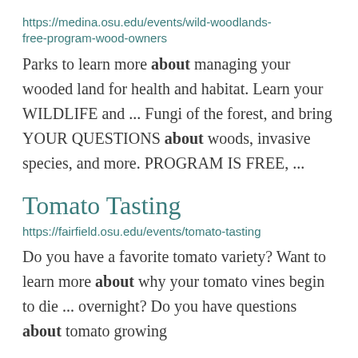https://medina.osu.edu/events/wild-woodlands-free-program-wood-owners
Parks to learn more about managing your wooded land for health and habitat. Learn your WILDLIFE and ... Fungi of the forest, and bring YOUR QUESTIONS about woods, invasive species, and more. PROGRAM IS FREE, ...
Tomato Tasting
https://fairfield.osu.edu/events/tomato-tasting
Do you have a favorite tomato variety? Want to learn more about why your tomato vines begin to die ... overnight?  Do you have questions about tomato growing